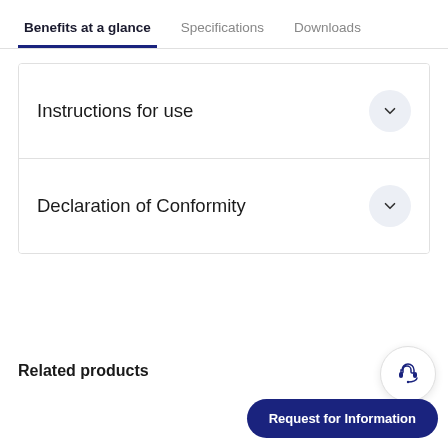Benefits at a glance | Specifications | Downloads
Instructions for use
Declaration of Conformity
Related products
Request for Information